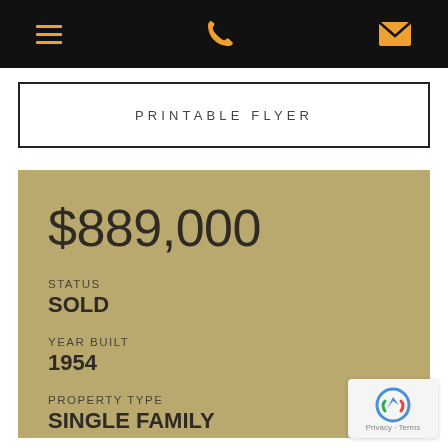Navigation bar with hamburger menu, phone icon, and envelope icon
PRINTABLE FLYER
$889,000
STATUS
SOLD
YEAR BUILT
1954
PROPERTY TYPE
SINGLE FAMILY